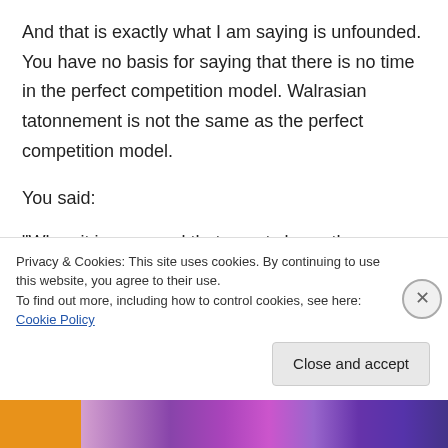And that is exactly what I am saying is unfounded. You have no basis for saying that there is no time in the perfect competition model. Walrasian tatonnement is not the same as the perfect competition model.
You said:
“When it is assumed that agents know the outcome of the model, there is no circularity. Remove the assumption, then I would argue that
Privacy & Cookies: This site uses cookies. By continuing to use this website, you agree to their use.
To find out more, including how to control cookies, see here: Cookie Policy